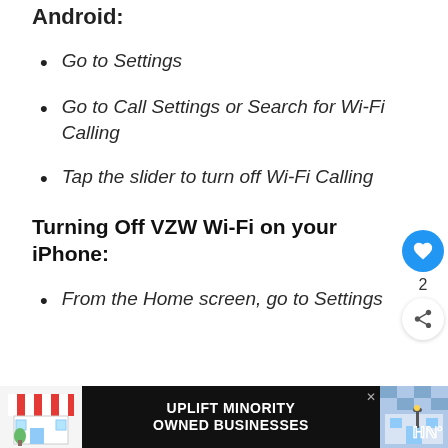Android:
Go to Settings
Go to Call Settings or Search for Wi-Fi Calling
Tap the slider to turn off Wi-Fi Calling
Turning Off VZW Wi-Fi on your iPhone:
From the Home screen, go to Settings